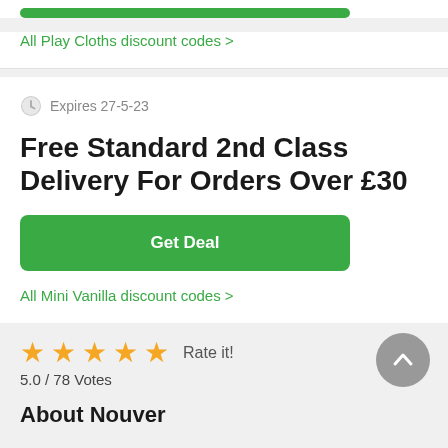[Figure (other): Green button bar at top (partial card above)]
All Play Cloths discount codes >
Expires 27-5-23
Free Standard 2nd Class Delivery For Orders Over £30
Get Deal
All Mini Vanilla discount codes >
★★★★★ Rate it!
5.0 / 78 Votes
About Nouveau